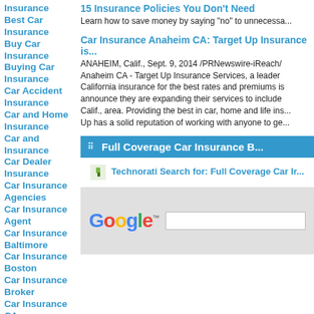Insurance
Best Car Insurance
Buy Car Insurance
Buying Car Insurance
Car Accident Insurance
Car and Home Insurance
Car and Insurance
Car Dealer Insurance
Car Insurance Agencies
Car Insurance Agent
Car Insurance Baltimore
Car Insurance Boston
Car Insurance Broker
Car Insurance CA
Car Insurance Calculator
Car Insurance
15 Insurance Policies You Don't Need
Learn how to save money by saying "no" to unnecessa...
Car Insurance Anaheim CA: Target Up Insurance is...
ANAHEIM, Calif., Sept. 9, 2014 /PRNewswire-iReach/ Anaheim CA - Target Up Insurance Services, a leader California insurance for the best rates and premiums is announce they are expanding their services to include Calif., area. Providing the best in car, home and life ins... Up has a solid reputation of working with anyone to ge...
Full Coverage Car Insurance B...
[Figure (screenshot): Technorati search icon and link for Full Coverage Car Insurance]
[Figure (screenshot): Google search box with Google logo and text input field]